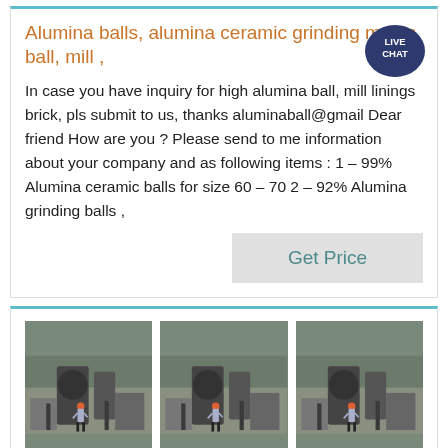Alumina balls, alumina ceramic grinding media ball, mill ,
In case you have inquiry for high alumina ball, mill linings brick, pls submit to us, thanks aluminaball@gmail Dear friend How are you ? Please send to me information about your company and as following items : 1 – 99% Alumina ceramic balls for size 60 – 70 2 – 92% Alumina grinding balls ,
[Figure (other): Live Chat speech bubble icon, teal colored with white text LIVE CHAT]
Get Price
[Figure (photo): Three identical industrial photos showing a worker in red hat standing next to large industrial grinding mill equipment outdoors]
Theory and Practice for - U S Stoneware
Types of Mills Ball and Pebble Mills: The expressions